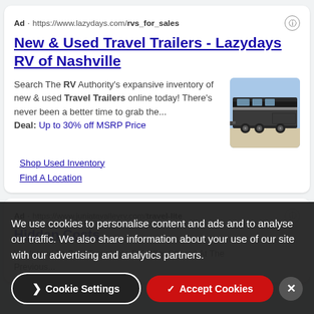Ad · https://www.lazydays.com/rvs_for_sales
New & Used Travel Trailers - Lazydays RV of Nashville
Search The RV Authority's expansive inventory of new & used Travel Trailers online today! There's never been a better time to grab the... Deal: Up to 30% off MSRP Price
[Figure (photo): Photo of a large black and silver travel trailer / fifth-wheel RV parked outdoors]
Shop Used Inventory
Find A Location
Ad · https://www.juniatavalleyrv.com/travel-lite
Hidden Costs
We Intend To Beat Travel-Lite RV Offer Offered At The Previous...
We use cookies to personalise content and ads and to analyse our traffic. We also share information about your use of our site with our advertising and analytics partners.
Cookie Settings
✓ Accept Cookies